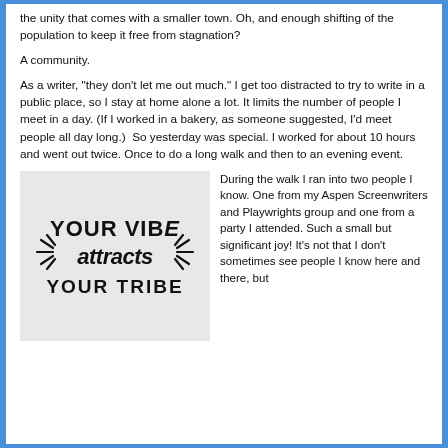the unity that comes with a smaller town. Oh, and enough shifting of the population to keep it free from stagnation?
A community.
As a writer, "they don't let me out much." I get too distracted to try to write in a public place, so I stay at home alone a lot. It limits the number of people I meet in a day. (If I worked in a bakery, as someone suggested, I'd meet people all day long.)  So yesterday was special. I worked for about 10 hours and went out twice. Once to do a long walk and then to an evening event.
[Figure (illustration): Inspirational quote graphic on light gray background reading YOUR VIBE attracts YOUR TRIBE with decorative burst/ray lines around the word 'attracts']
During the walk I ran into two people I know. One from my Aspen Screenwriters and Playwrights group and one from a party I attended. Such a small but significant joy! It's not that I don't sometimes see people I know here and there, but